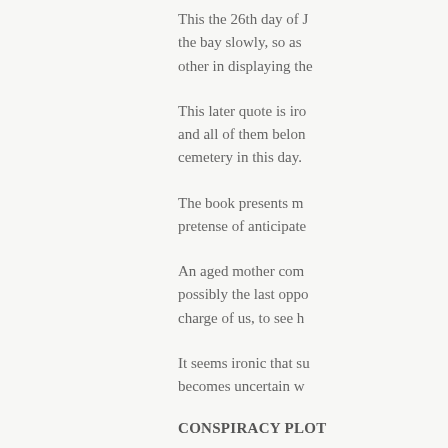This the 26th day of J... the bay slowly, so as... other in displaying the...
This later quote is iro... and all of them belon... cemetery in this day.
The book presents m... pretense of anticipate...
An aged mother com... possibly the last oppo... charge of us, to see h...
It seems ironic that su... becomes uncertain w...
CONSPIRACY PLOT
In the fall of 1864, a c... that time, and 5,000 a...